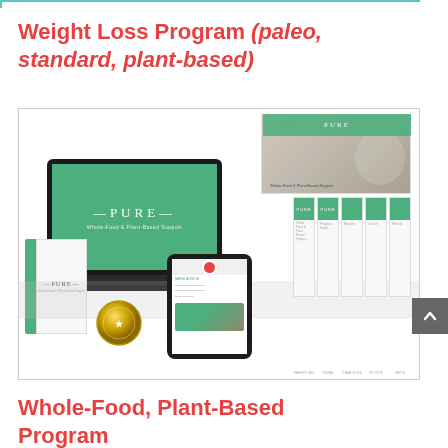Weight Loss Program (paleo, standard, plant-based)
[Figure (photo): Product image for PURE Whole-Food & Plant-Based Support program, showing laptop, tablet, books, booklets, medal and food photography]
Whole-Food, Plant-Based Program